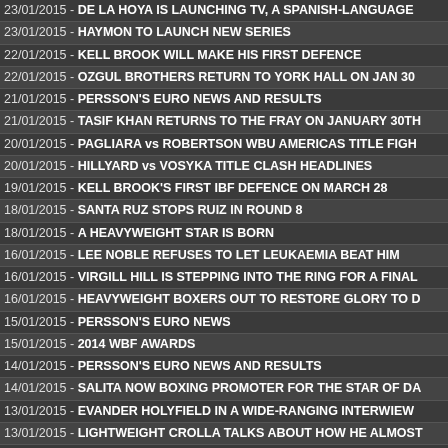23/01/2015 - DE LA HOYA IS LAUNCHING TV, A SPANISH-LANGUAGE
23/01/2015 - HAYMON TO LAUNCH NEW SERIES
22/01/2015 - KELL BROOK WILL MAKE HIS FIRST DEFENCE
22/01/2015 - OZGUL BROTHERS RETURN TO YORK HALL ON JAN 30
21/01/2015 - PERSSON'S EURO NEWS AND RESULTS
21/01/2015 - TASIF KHAN RETURNS TO THE FRAY ON JANUARY 30TH
20/01/2015 - PAGLIARA vs ROBERTSON WBU AMERICAS TITLE FIGH
20/01/2015 - HILLYARD vs VOSYKA TITLE CLASH HEADLINES
19/01/2015 - KELL BROOK'S FIRST IBF DEFENCE ON MARCH 28
18/01/2015 - SANTA RUZ STOPS RUIZ IN ROUND 8
18/01/2015 - A HEAVYWEIGHT STAR IS BORN
16/01/2015 - LEE NOBLE REFUSES TO LET LEUKAEMIA BEAT HIM
16/01/2015 - VIRGILL HILL IS STEPPING INTO THE RING FOR A FINAL
16/01/2015 - HEAVYWEIGHT BOXERS OUT TO RESTORE GLORY TO D
15/01/2015 - PERSSON'S EURO NEWS
15/01/2015 - 2014 WBF AWARDS
14/01/2015 - PERSSON'S EURO NEWS AND RESULTS
14/01/2015 - SALITA NOW BOXING PROMOTER FOR THE STAR OF DA
13/01/2015 - EVANDER HOLYFIELD IN A WIDE-RANGING INTERWIEW
13/01/2015 - LIGHTWEIGHT CROLLA TALKS ABOUT HOW HE ALMOST
12/01/2015 - BRUNO VISINTIN PASSES
12/01/2015 - STIVERNE-WILDER FIGHTS PUTS FOCUS BACK
11/01/2015 - PERSSON'S EURO NEWS
11/01/2015 - MOHOUMADI vs HILARIO NOW SET FOR MARCH
09/01/2015 - PERSSON'S EURO NEWS
09/01/2015 - MBC TO SANCTION EVENTS IN THE UK IN 2015